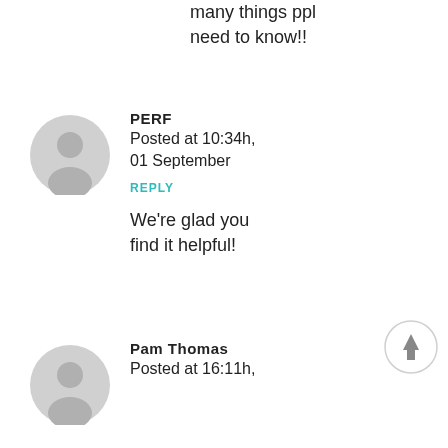many things ppl need to know!!
PERF
Posted at 10:34h, 01 September
REPLY
We're glad you find it helpful!
[Figure (illustration): Scroll to top button with upward arrow]
Pam Thomas
Posted at 16:11h,